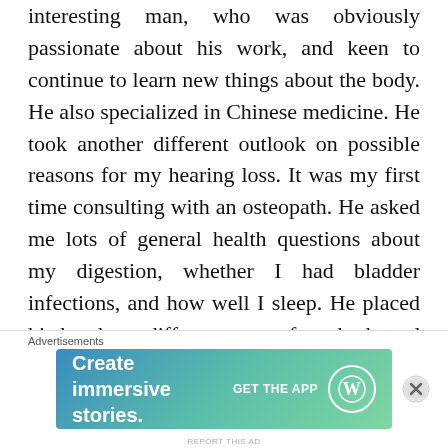interesting man, who was obviously passionate about his work, and keen to continue to learn new things about the body. He also specialized in Chinese medicine. He took another different outlook on possible reasons for my hearing loss. It was my first time consulting with an osteopath. He asked me lots of general health questions about my digestion, whether I had bladder infections, and how well I sleep. He placed his hands on different parts of my body and said that there was a blocked channel of blood flow to my head. He also said that there was a problem with the membrane in my deaf ear. He placed little stickers
Advertisements
[Figure (infographic): Advertisement banner for WordPress app: 'Create immersive stories.' with a GET THE APP call to action and WordPress logo, shown on a teal/blue gradient background.]